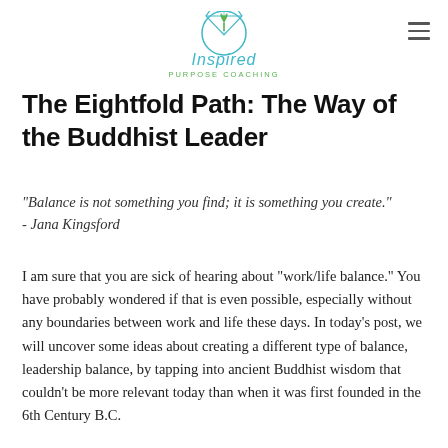[Figure (logo): Inspired Purpose Coaching logo with teal diamond/gem icon and tree, teal and green text]
The Eightfold Path: The Way of the Buddhist Leader
"Balance is not something you find; it is something you create." - Jana Kingsford
I am sure that you are sick of hearing about "work/life balance." You have probably wondered if that is even possible, especially without any boundaries between work and life these days. In today's post, we will uncover some ideas about creating a different type of balance, leadership balance, by tapping into ancient Buddhist wisdom that couldn't be more relevant today than when it was first founded in the 6th Century B.C.